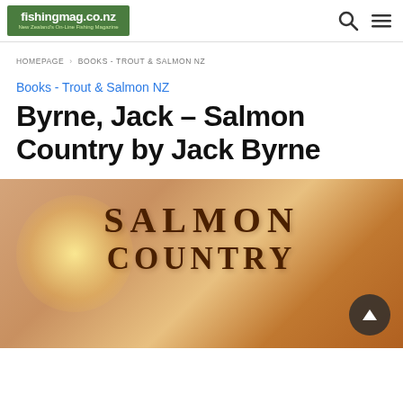fishingmag.co.nz — New Zealand's On-Line Fishing Magazine
HOMEPAGE › BOOKS - TROUT & SALMON NZ
Books - Trout & Salmon NZ
Byrne, Jack – Salmon Country by Jack Byrne
[Figure (photo): Book cover showing the text SALMON COUNTRY in large embossed letters on a warm golden-brown background with a light glow effect on the left side.]